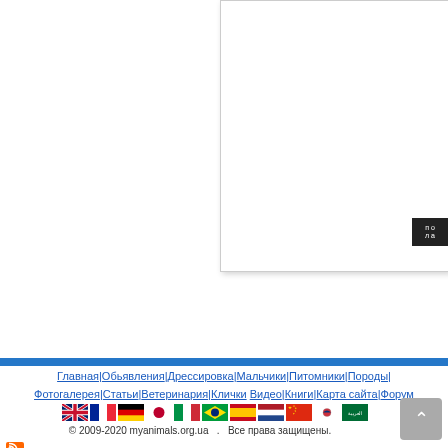[Figure (screenshot): White panel box with shadow in upper right of page, with small dark tooltip button at right edge]
Главная|Обьявления|Дрессировка|Мальчики|Питомники|Породы|Фотогалерея|Статьи|Ветеринария|Клички Видео|Книги|Карта сайта|Форум
[Figure (infographic): Row of country flag icons: UK, France, Germany, Japan, Italy, Brazil, Spain, Netherlands, China, South Korea, Saudi Arabia]
© 2009-2020 myanimals.org.ua  .  Все права защищены.